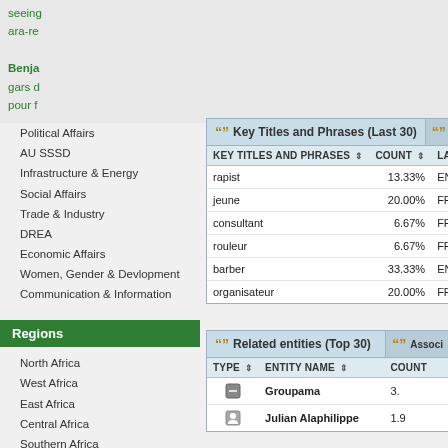Commissioners
Peace and Security Council
ACSRT (CAERT)
Africa 2063
AU Departments
Political Affairs
AU SSSD
Infrastructure & Energy
Social Affairs
Trade & Industry
DREA
Economic Affairs
Women, Gender & Devlopment
Communication & Information
Regions
North Africa
West Africa
East Africa
Central Africa
Southern Africa
RECs Focus
seeing
ara-re
Benja
gars d
pour f
| Key Titles and Phrases | Count | Lang | La |
| --- | --- | --- | --- |
| rapist | 13.33% | EN |  |
| jeune | 20.00% | FR |  |
| consultant | 6.67% | FR |  |
| rouleur | 6.67% | FR |  |
| barber | 33.33% | EN |  |
| organisateur | 20.00% | FR |  |
| Type | Entity Name | Count |
| --- | --- | --- |
| [icon] | Groupama | 3. |
| [icon] | Julian Alaphilippe | 1.9 |